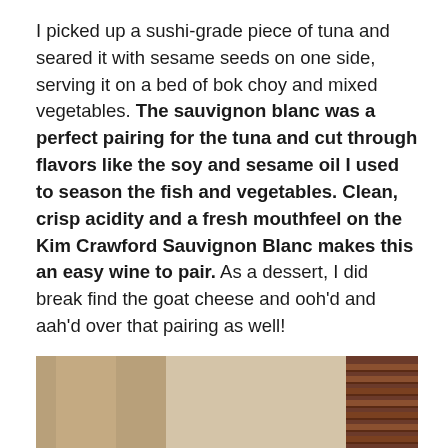I picked up a sushi-grade piece of tuna and seared it with sesame seeds on one side, serving it on a bed of bok choy and mixed vegetables. The sauvignon blanc was a perfect pairing for the tuna and cut through flavors like the soy and sesame oil I used to season the fish and vegetables. Clean, crisp acidity and a fresh mouthfeel on the Kim Crawford Sauvignon Blanc makes this an easy wine to pair. As a dessert, I did break find the goat cheese and ooh'd and aah'd over that pairing as well!
[Figure (photo): Partial photo showing a wine bottle on the left side and wooden venetian blinds on the right side, cropped at the bottom of the page.]